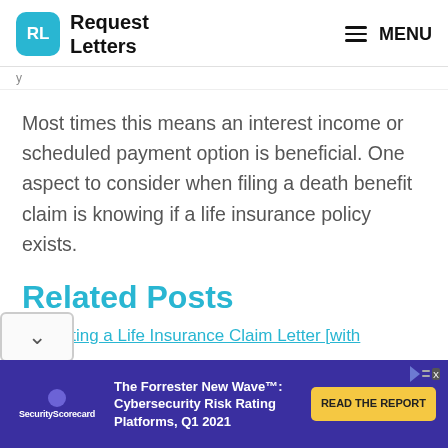Request Letters | MENU
Most times this means an interest income or scheduled payment option is beneficial. One aspect to consider when filing a death benefit claim is knowing if a life insurance policy exists.
Related Posts
1. Writing a Life Insurance Claim Letter [with
[Figure (other): Advertisement banner: SecurityScorecard - The Forrester New Wave™: Cybersecurity Risk Rating Platforms, Q1 2021. READ THE REPORT button.]